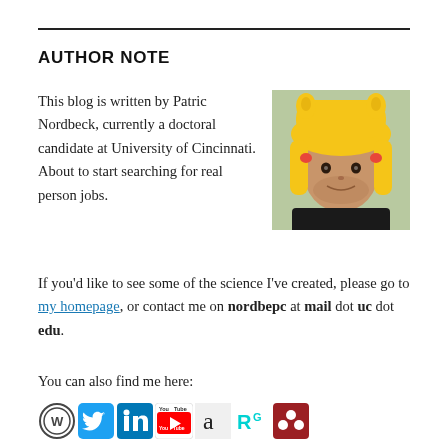AUTHOR NOTE
This blog is written by Patric Nordbeck, currently a doctoral candidate at University of Cincinnati. About to start searching for real person jobs.
[Figure (photo): Photo of Patric Nordbeck wearing a yellow Pikachu hat]
If you'd like to see some of the science I've created, please go to my homepage, or contact me on nordbepc at mail dot uc dot edu.
You can also find me here:
[Figure (illustration): Row of social media icons: WordPress, Twitter, LinkedIn, YouTube, Amazon, ResearchGate, Mendeley]